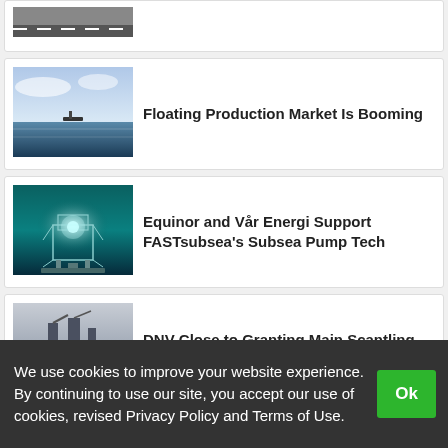[Figure (photo): Partial view of a road/highway image at the top of the page]
Floating Production Market Is Booming
[Figure (photo): Offshore ocean scene with floating production vessel on the horizon]
Equinor and Vår Energi Support FASTsubsea's Subsea Pump Tech
[Figure (photo): Underwater subsea pump structure with bright light, teal water]
DNV Close to Granting Main Scantling Approval for Odfjell Oceanwind's Floater
[Figure (photo): Misty offshore floater structure on calm water]
We use cookies to improve your website experience. By continuing to use our site, you accept our use of cookies, revised Privacy Policy and Terms of Use.